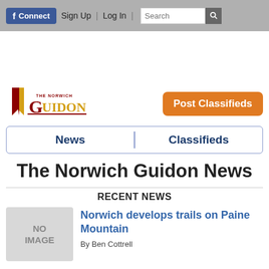f Connect | Sign Up | Log In | Search
[Figure (logo): The Norwich Guidon newspaper logo with bookmark icon]
Post Classifieds
News   Classifieds
The Norwich Guidon News
RECENT NEWS
Norwich develops trails on Paine Mountain
By Ben Cottrell